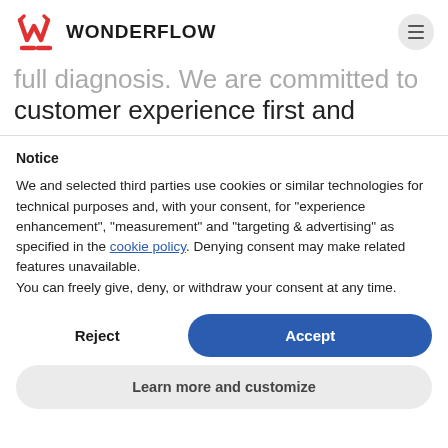WONDERFLOW
full diagnosis. We are committed to customer experience first and
Notice
We and selected third parties use cookies or similar technologies for technical purposes and, with your consent, for “experience enhancement”, “measurement” and “targeting & advertising” as specified in the cookie policy. Denying consent may make related features unavailable.
You can freely give, deny, or withdraw your consent at any time.
Reject
Accept
Learn more and customize